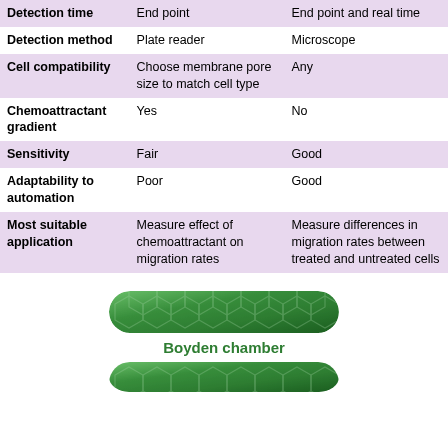|  | Column A | Column B |
| --- | --- | --- |
| Detection time | End point | End point and real time |
| Detection method | Plate reader | Microscope |
| Cell compatibility | Choose membrane pore size to match cell type | Any |
| Chemoattractant gradient | Yes | No |
| Sensitivity | Fair | Good |
| Adaptability to automation | Poor | Good |
| Most suitable application | Measure effect of chemoattractant on migration rates | Measure differences in migration rates between treated and untreated cells |
[Figure (illustration): Green hexagonal patterned banner button for Boyden chamber]
Boyden chamber
[Figure (illustration): Green hexagonal patterned banner button (partially shown at bottom)]